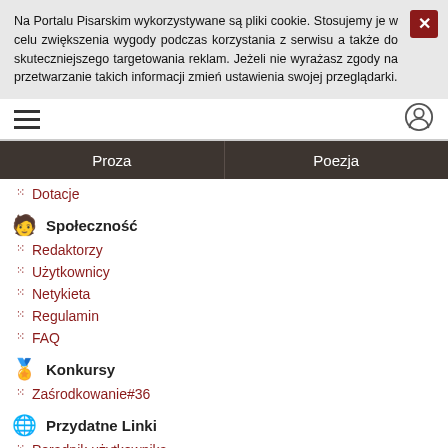Na Portalu Pisarskim wykorzystywane są pliki cookie. Stosujemy je w celu zwiększenia wygody podczas korzystania z serwisu a także do skuteczniejszego targetowania reklam. Jeżeli nie wyrażasz zgody na przetwarzanie takich informacji zmień ustawienia swojej przeglądarki.
Proza | Poezja
Dotacje
Społeczność
Redaktorzy
Użytkownicy
Netykieta
Regulamin
FAQ
Konkursy
Zaśrodkowanie#36
Przydatne Linki
Poradnik użytkownika
Debiut prozatorski
Debiut poetycki
Dekalog dobrego wiersza
Wirtajki.pl
Kilka słów o krytyce
Nasze Antologie